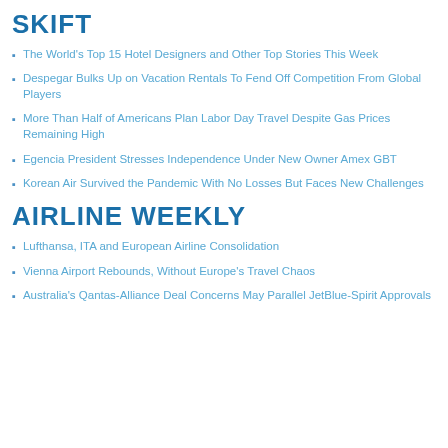SKIFT
The World's Top 15 Hotel Designers and Other Top Stories This Week
Despegar Bulks Up on Vacation Rentals To Fend Off Competition From Global Players
More Than Half of Americans Plan Labor Day Travel Despite Gas Prices Remaining High
Egencia President Stresses Independence Under New Owner Amex GBT
Korean Air Survived the Pandemic With No Losses But Faces New Challenges
AIRLINE WEEKLY
Lufthansa, ITA and European Airline Consolidation
Vienna Airport Rebounds, Without Europe's Travel Chaos
Australia's Qantas-Alliance Deal Concerns May Parallel JetBlue-Spirit Approvals